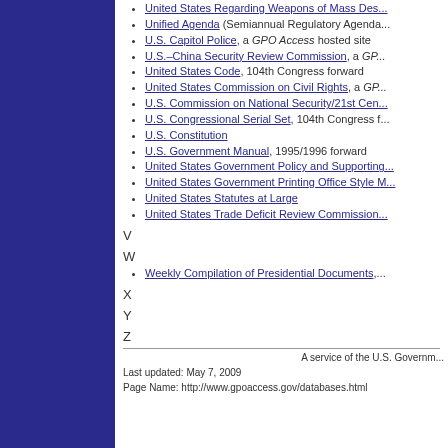United States Regarding Weapons of Mass Des...
Unified Agenda (Semiannual Regulatory Agenda...
U.S. Capitol Police, a GPO Access hosted site
U.S.–China Security Review Commission, a GP...
United States Code, 104th Congress forward
United States Commission on Civil Rights, a GP...
U.S. Commission on National Security/21st Cen...
U.S. Congressional Serial Set, 104th Congress f...
U.S. Constitution
U.S. Government Manual, 1995/1996 forward
United States Government Policy and Supporting...
United States Government Printing Office Style M...
United States Statutes at Large
United States Trade Deficit Review Commission...
V
W
Weekly Compilation of Presidential Documents,...
X
Y
Z
A service of the U.S. Governm...
Last updated: May 7, 2009
Page Name: http://www.gpoaccess.gov/databases.html